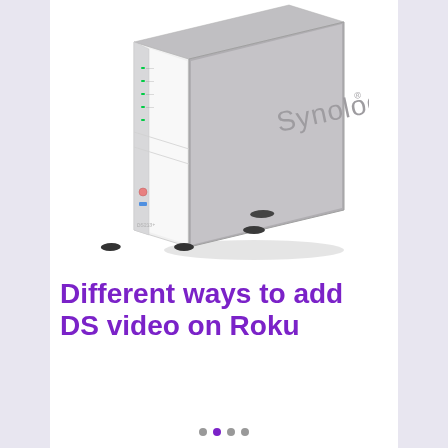[Figure (photo): A Synology NAS (Network Attached Storage) device, model DS series, shown at an angle. The device is white and gray, with green LED status lights on the left panel, a power button, and the Synology logo embossed on the front. The device has rubber feet and sits on a white background.]
Different ways to add DS video on Roku